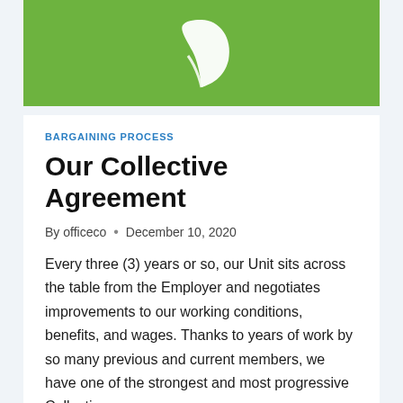[Figure (logo): Green banner with white leaf/plant logo icon]
BARGAINING PROCESS
Our Collective Agreement
By officeco • December 10, 2020
Every three (3) years or so, our Unit sits across the table from the Employer and negotiates improvements to our working conditions, benefits, and wages. Thanks to years of work by so many previous and current members, we have one of the strongest and most progressive Collective